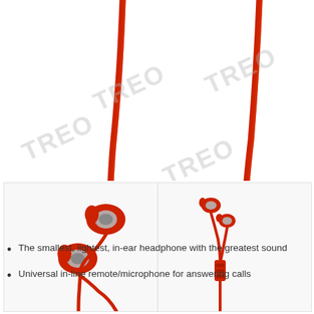[Figure (photo): Red earphone cables against white background, showing two red cable strands hanging down from top of frame. Multiple watermark 'TREO' text overlaid diagonally across the image.]
[Figure (photo): Two product shots of red in-ear headphones side by side. Left image shows close-up of the earphone buds with silver accents and red cable. Right image shows the full earphone unit with inline remote/microphone and flat red cable. Both against white/light gray background.]
The smallest, lightest, in-ear headphone with the greatest sound
Universal in-line remote/microphone for answering calls